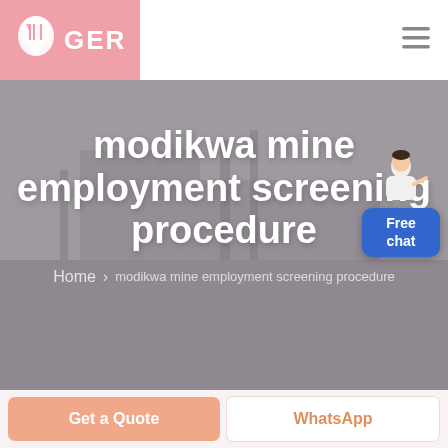GER
modikwa mine employment screening procedure
Home > modikwa mine employment screening procedure
[Figure (illustration): Free chat button with person illustration]
Get a Quote
WhatsApp